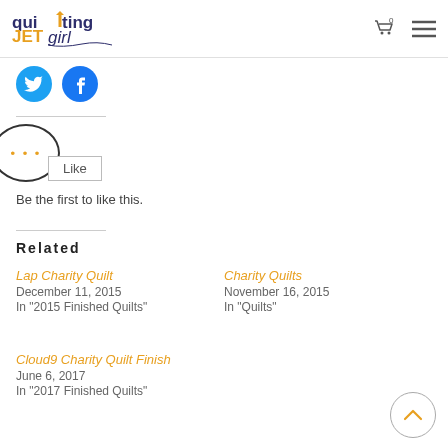quilting JETgirl — header with cart and menu icons
[Figure (logo): Quilting Jet Girl logo with cart icon (0) and hamburger menu]
[Figure (illustration): Twitter and Facebook circular social share buttons]
Like this:
Like
Be the first to like this.
Related
Lap Charity Quilt
December 11, 2015
In "2015 Finished Quilts"
Charity Quilts
November 16, 2015
In "Quilts"
Cloud9 Charity Quilt Finish
June 6, 2017
In "2017 Finished Quilts"